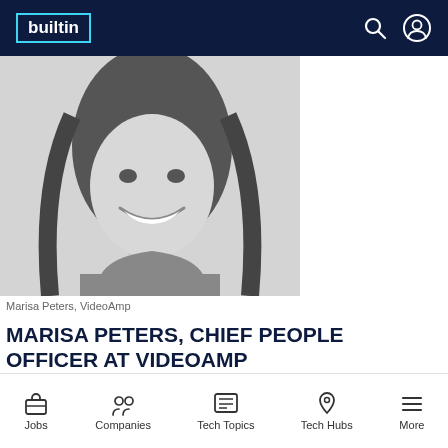builtin
[Figure (photo): Black and white portrait photo of Marisa Peters, a woman with long hair smiling]
Marisa Peters, VideoAmp
MARISA PETERS, CHIEF PEOPLE OFFICER AT VIDEOAMP
1 Remaining Article. Get unlimited access to all Built In content by joining our free community.
Jobs  Companies  Tech Topics  Tech Hubs  More